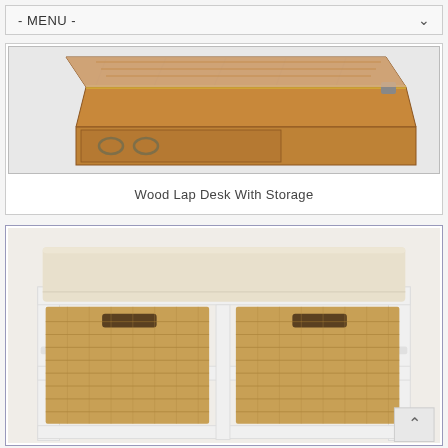- MENU -
[Figure (photo): Close-up photo of a wooden lap desk with an open lid revealing a drawer with metal ring pull handles, showing the wood grain and brass inlay details.]
Wood Lap Desk With Storage
[Figure (photo): Photo of a white wooden storage bench with a beige cushion on top and two woven wicker/water hyacinth basket drawers below.]